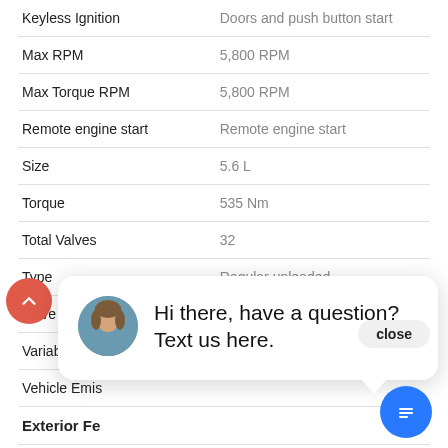| Feature | Value |
| --- | --- |
| Keyless Ignition | Doors and push button start |
| Max RPM | 5,800 RPM |
| Max Torque RPM | 5,800 RPM |
| Remote engine start | Remote engine start |
| Size | 5.6 L |
| Torque | 535 Nm |
| Total Valves | 32 |
| Type | Regular unleaded |
| Valve Gear | DOHC |
| Variable Valve |  |
| Vehicle Emis |  |
| Exterior Fe |  |
| Grille | Chrome |
| Rear spoiler | Lip |
| Skid plates | 1 |
[Figure (screenshot): Chat popup overlay with avatar photo of a woman and text 'Hi there, have a question? Text us here.' with a close button and a blue chat icon button.]